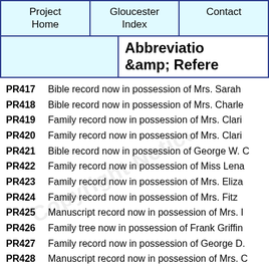Project Home | Gloucester Index | Contact
Abbreviations & References
PR417   Bible record now in possession of Mrs. Sarah
PR418   Bible record now in possession of Mrs. Charle
PR419   Family record now in possession of Mrs. Clari
PR420   Family record now in possession of Mrs. Clari
PR421   Bible record now in possession of George W. C
PR422   Family record now in possession of Miss Lena
PR423   Family record now in possession of Mrs. Eliza
PR424   Family record now in possession of Mrs. Fitz
PR425   Manuscript record now in possession of Mrs. I
PR426   Family tree now in possession of Frank Griffin
PR427   Family record now in possession of George D.
PR428   Manuscript record now in possession of Mrs. C
PR429   Family record now in possession of Mrs. Willi
PR430   Bible record now in possession of Mrs. Ada H